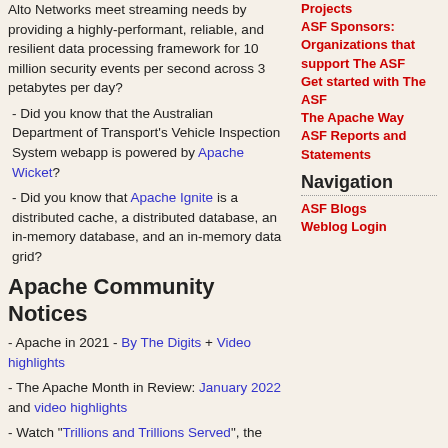Alto Networks meet streaming needs by providing a highly-performant, reliable, and resilient data processing framework for 10 million security events per second across 3 petabytes per day?
- Did you know that the Australian Department of Transport's Vehicle Inspection System webapp is powered by Apache Wicket?
- Did you know that Apache Ignite is a distributed cache, a distributed database, an in-memory database, and an in-memory data grid?
Apache Community Notices
- Apache in 2021 - By The Digits + Video highlights
- The Apache Month in Review: January 2022 and video highlights
- Watch "Trillions and Trillions Served", the documentary on the ASF 1) full feature [49 min] 2) "Apache Everywhere" [6 min] 3) "Why Apache" [2.5 min] 4) "Apache Innovation" [40 min]
- ASF Annual Report: FY2021 -- Press release and Report (PDF)
ASF Sponsors: Organizations that support The ASF
Get started with The ASF
The Apache Way
ASF Reports and Statements
Navigation
ASF Blogs
Weblog Login